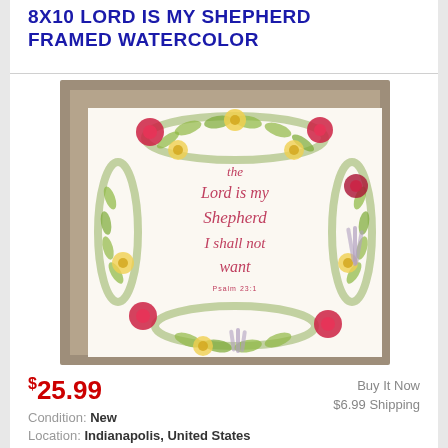8X10 LORD IS MY SHEPHERD FRAMED WATERCOLOR
[Figure (photo): Framed watercolor art print showing 'the Lord is my Shepherd I shall not want Psalm 23:1' in cursive lettering surrounded by a floral wreath with red, yellow, and green flowers, in a rustic wood frame.]
$25.99
Buy It Now
$6.99 Shipping
Condition: New
Location: Indianapolis, United States